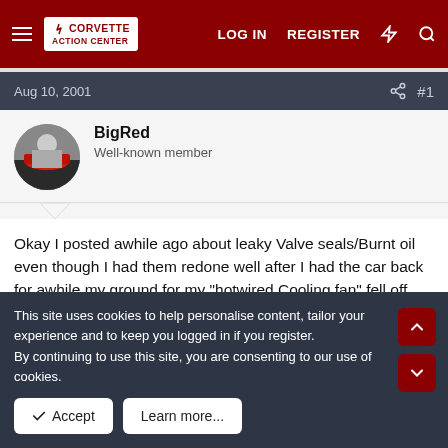Corvette Action Center — LOG IN  REGISTER
Aug 10, 2001   #1
BigRed
Well-known member
Okay I posted awhile ago about leaky Valve seals/Burnt oil even though I had them redone well after I had the car back for awhile my ground for my "hotwired Cooling fan" fell off therefore no main cooling fan the car heated up to 260 degrees it got so hot that the cap on the Burp tank BLEW OFF!! and was boiling
This site uses cookies to help personalise content, tailor your experience and to keep you logged in if you register.
By continuing to use this site, you are consenting to our use of cookies.